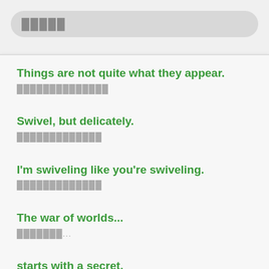█████
Things are not quite what they appear.
██████████████
Swivel, but delicately.
█████████████
I'm swiveling like you're swiveling.
█████████████
The war of worlds...
███████...
starts with a secret.
████████